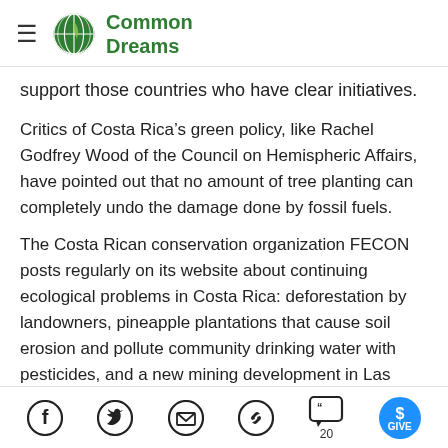Common Dreams
support those countries who have clear initiatives.
Critics of Costa Rica's green policy, like Rachel Godfrey Wood of the Council on Hemispheric Affairs, have pointed out that no amount of tree planting can completely undo the damage done by fossil fuels.
The Costa Rican conservation organization FECON posts regularly on its website about continuing ecological problems in Costa Rica: deforestation by landowners, pineapple plantations that cause soil erosion and pollute community drinking water with pesticides, and a new mining development in Las Crucitas that has local residents worried about cyanide
Social sharing icons: Facebook, Twitter, Email, Link, Comments (20), Give